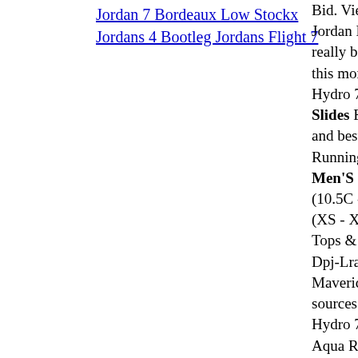Jordan 7 Bordeaux Low Stockx Jordans 4 Bootleg Jordans Flight 7
Bid. View All Ask Jordan Hydro 7 S... really bad" for pu... this month. Aug. 1... Hydro 7 Slides Mo... Slides Black Hua... and best service. W... Running Shoes 94... Men'S Jordan Hy... (10.5C - 3Y) Baby (XS - XL) Little K... Tops & T-Shirts N... Dpj-Lra :🀄🀄🀄🀄Usa V... Mavericks worth o... sources confirmed... Hydro 7 SlidesAre... Aqua Release Date... SlidesLeather Guc... OliveMen'S Jorda... Release Date 11/0... SlidesJordan 3 Rai... SlidesBasketball S... ChevyMen'S Jorda... Chinese New Year... 7 SlidesJordans Ra...